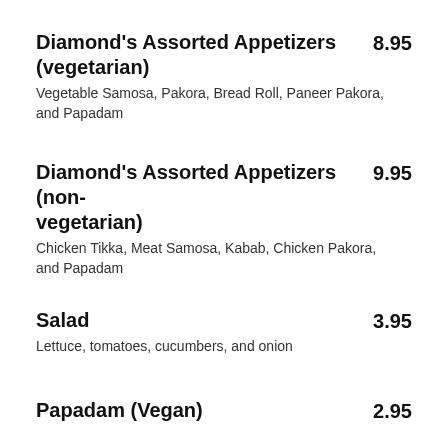Diamond's Assorted Appetizers (vegetarian) 8.95 — Vegetable Samosa, Pakora, Bread Roll, Paneer Pakora, and Papadam
Diamond's Assorted Appetizers (non-vegetarian) 9.95 — Chicken Tikka, Meat Samosa, Kabab, Chicken Pakora, and Papadam
Salad 3.95 — Lettuce, tomatoes, cucumbers, and onion
Papadam (Vegan) 2.95